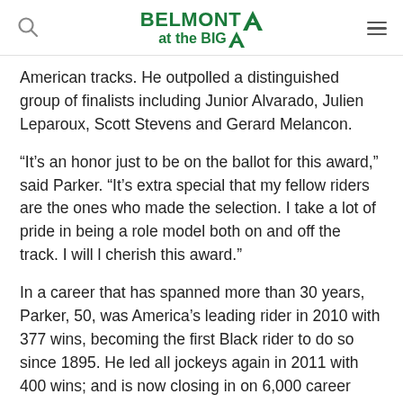BELMONT at the BIG A
American tracks. He outpolled a distinguished group of finalists including Junior Alvarado, Julien Leparoux, Scott Stevens and Gerard Melancon.
“It’s an honor just to be on the ballot for this award,” said Parker. “It’s extra special that my fellow riders are the ones who made the selection. I take a lot of pride in being a role model both on and off the track. I will l cherish this award.”
In a career that has spanned more than 30 years, Parker, 50, was America’s leading rider in 2010 with 377 wins, becoming the first Black rider to do so since 1895. He led all jockeys again in 2011 with 400 wins; and is now closing in on 6,000 career wins. A native of Cincinnati, Parker was a dominant rider for